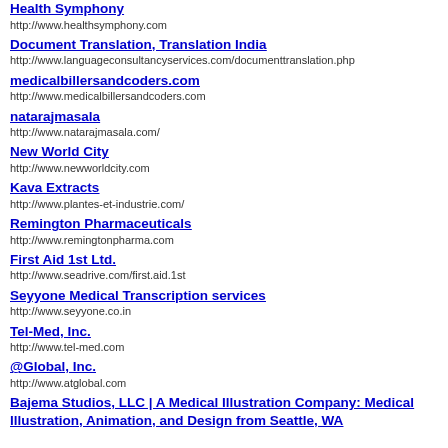Health Symphony
http://www.healthsymphony.com
Document Translation, Translation India
http://www.languageconsultancyservices.com/documenttranslation.php
medicalbillersandcoders.com
http://www.medicalbillersandcoders.com
natarajmasala
http://www.natarajmasala.com/
New World City
http://www.newworldcity.com
Kava Extracts
http://www.plantes-et-industrie.com/
Remington Pharmaceuticals
http://www.remingtonpharma.com
First Aid 1st Ltd.
http://www.seadrive.com/first.aid.1st
Seyyone Medical Transcription services
http://www.seyyone.co.in
Tel-Med, Inc.
http://www.tel-med.com
@Global, Inc.
http://www.atglobal.com
Bajema Studios, LLC | A Medical Illustration Company: Medical Illustration, Animation, and Design from Seattle, WA